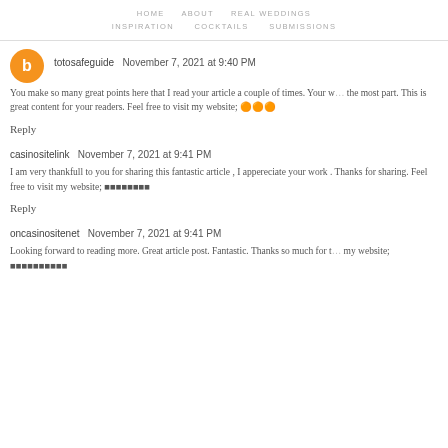HOME   ABOUT   REAL WEDDINGS
INSPIRATION   COCKTAILS   SUBMISSIONS
totosafeguide  November 7, 2021 at 9:40 PM
You make so many great points here that I read your article a couple of times. Your writing is clear, informative, and for the most part. This is great content for your readers. Feel free to visit my website; 안전놀이터
Reply
casinositelink  November 7, 2021 at 9:41 PM
I am very thankfull to you for sharing this fantastic article , I appereciate your work . Thanks for sharing. Feel free to visit my website; 카지노사이트링크
Reply
oncasinositenet  November 7, 2021 at 9:41 PM
Looking forward to reading more. Great article post. Fantastic. Thanks so much for t... my website; 온카지노사이트넷